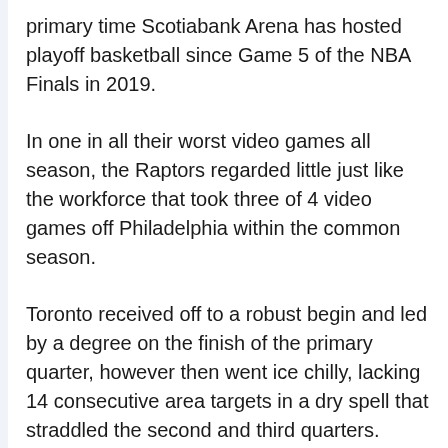primary time Scotiabank Arena has hosted playoff basketball since Game 5 of the NBA Finals in 2019.
In one in all their worst video games all season, the Raptors regarded little just like the workforce that took three of 4 video games off Philadelphia within the common season.
Toronto received off to a robust begin and led by a degree on the finish of the primary quarter, however then went ice chilly, lacking 14 consecutive area targets in a dry spell that straddled the second and third quarters.
When Embiid knocked down a three-pointer late within the third, the Sixers went up by 27 factors to the delight of the noisy Wells Fargo